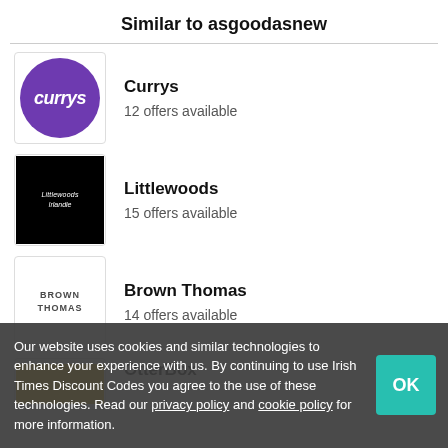Similar to asgoodasnew
Currys — 12 offers available
Littlewoods — 15 offers available
Brown Thomas — 14 offers available
OtterBox
Our website uses cookies and similar technologies to enhance your experience with us. By continuing to use Irish Times Discount Codes you agree to the use of these technologies. Read our privacy policy and cookie policy for more information.